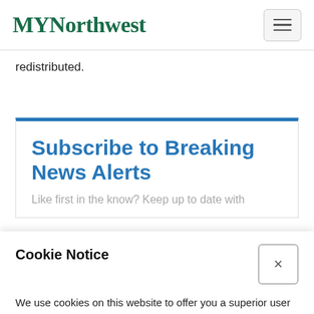MYNorthwest
redistributed.
Subscribe to Breaking News Alerts
Like first in the know? Keep up to date with
Cookie Notice
We use cookies on this website to offer you a superior user experience, analyze site traffic, and personalize content and advertisements. By continuing to use our site, you consent to our use of cookies. Please visit our Privacy Policy for more information.
Continue